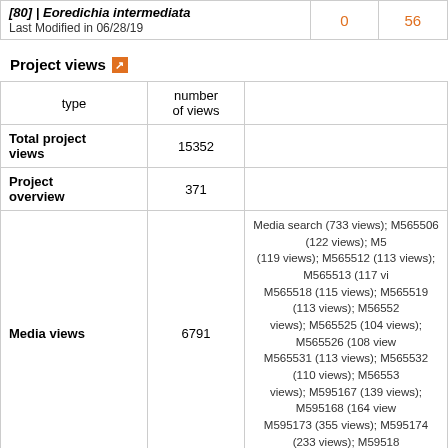| [80] | Eoredichia intermediata
Last Modified in 06/28/19 | 0 | 56 |
| --- | --- | --- |
Project views
| type | number of views |  |
| --- | --- | --- |
| Total project views | 15352 |  |
| Project overview | 371 |  |
| Media views | 6791 | Media search (733 views); M565506 (122 views); M5... (119 views); M565512 (113 views); M565513 (117 vi... M565518 (115 views); M565519 (113 views); M56552... views); M565525 (104 views); M565526 (108 view... M565531 (113 views); M565532 (110 views); M56553... views); M595167 (139 views); M595168 (164 view... M595173 (355 views); M595174 (233 views); M59518... |
| Matrix views | 338 | Matrix landing page (223 views); Character Mat... |
| Views for media list | 416 |  |
| Documents |  |  |